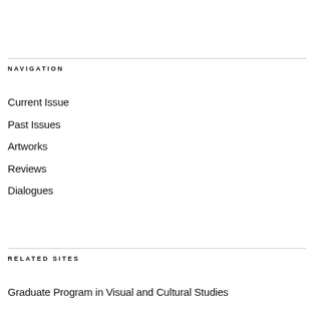NAVIGATION
Current Issue
Past Issues
Artworks
Reviews
Dialogues
RELATED SITES
Graduate Program in Visual and Cultural Studies